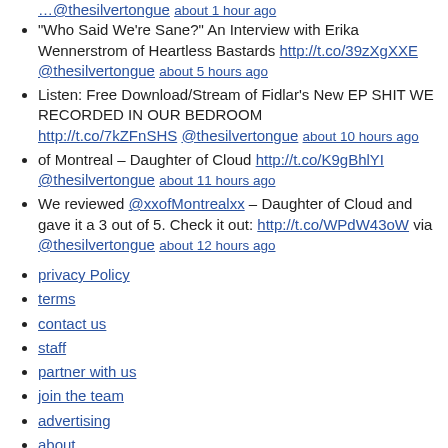@thesilvertongue about 1 hour ago
"Who Said We're Sane?" An Interview with Erika Wennerstrom of Heartless Bastards http://t.co/39zXgXXE @thesilvertongue about 5 hours ago
Listen: Free Download/Stream of Fidlar's New EP SHIT WE RECORDED IN OUR BEDROOM http://t.co/7kZFnSHS @thesilvertongue about 10 hours ago
of Montreal – Daughter of Cloud http://t.co/K9gBhlYI @thesilvertongue about 11 hours ago
We reviewed @xxofMontrealxx – Daughter of Cloud and gave it a 3 out of 5. Check it out: http://t.co/WPdW43oW via @thesilvertongue about 12 hours ago
privacy Policy
terms
contact us
staff
partner with us
join the team
advertising
about
Copyright © 2012 The Silver Tongue  Powered by: TST Media Group